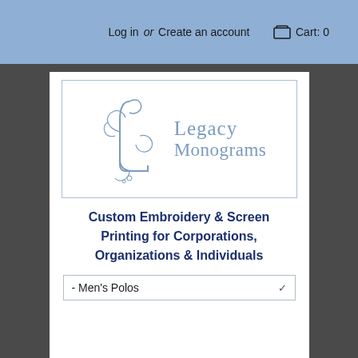Log in or Create an account   Cart: 0
[Figure (logo): Legacy Monograms logo with ornate monogram letter and text 'Legacy Monograms']
Custom Embroidery & Screen Printing for Corporations, Organizations & Individuals
- Men's Polos